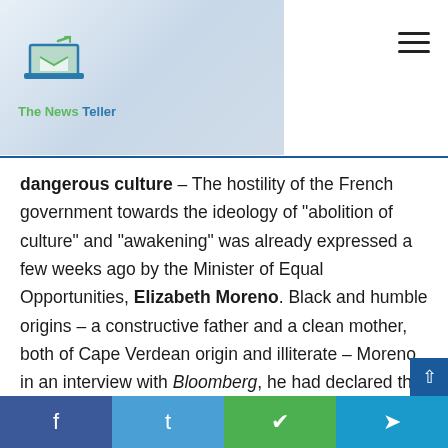The News Teller
dangerous culture – The hostility of the French government towards the ideology of “abolition of culture” and “awakening” was already expressed a few weeks ago by the Minister of Equal Opportunities, Elizabeth Moreno. Black and humble origins – a constructive father and a clean mother, both of Cape Verdean origin and illiterate – Moreno, in an interview with Bloomberg, he had declared that the culture of ‘vigilance’ is very dangerous and should not be imported into France.” Then, urging the interviewer, she added that “French cosmopolitanism is a philosophy that recognizes people as they are, not because they are women, LGBT or of a differen
f  t  WhatsApp  Telegram